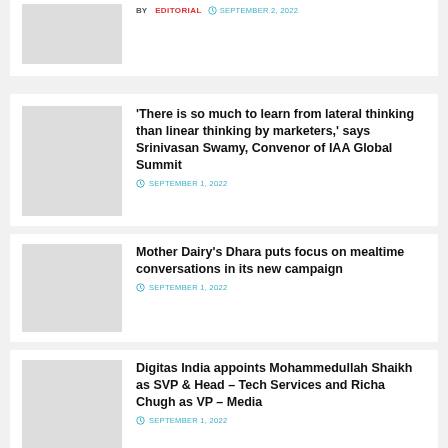[Figure (photo): Thumbnail image placeholder top card]
BY EDITORIAL  SEPTEMBER 2, 2022
[Figure (photo): Thumbnail image placeholder second article]
'There is so much to learn from lateral thinking than linear thinking by marketers,' says Srinivasan Swamy, Convenor of IAA Global Summit
SEPTEMBER 1, 2022
[Figure (photo): Thumbnail image placeholder third article]
Mother Dairy's Dhara puts focus on mealtime conversations in its new campaign
SEPTEMBER 1, 2022
[Figure (photo): Thumbnail image placeholder fourth article]
Digitas India appoints Mohammedullah Shaikh as SVP & Head – Tech Services and Richa Chugh as VP – Media
SEPTEMBER 1, 2022